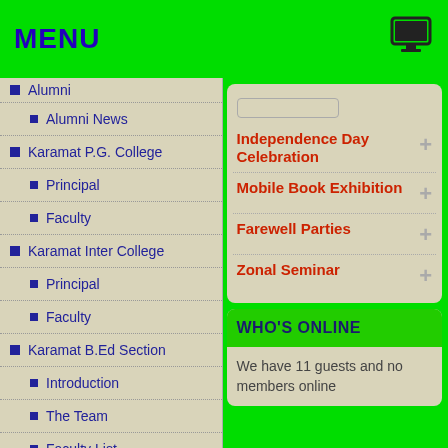MENU
Alumni
Alumni News
Karamat P.G. College
Principal
Faculty
Karamat Inter College
Principal
Faculty
Karamat B.Ed Section
Introduction
The Team
Faculty List
Independence Day Celebration
Mobile Book Exhibition
Farewell Parties
Zonal Seminar
WHO'S ONLINE
We have 11 guests and no members online